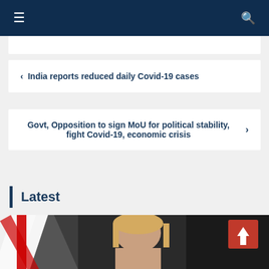Navigation bar with hamburger menu and search icon
< India reports reduced daily Covid-19 cases
Govt, Opposition to sign MoU for political stability, fight Covid-19, economic crisis >
Latest
[Figure (photo): Photo of a blonde woman in front of a UK flag, partial view at bottom of page]